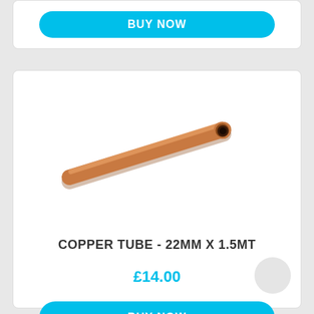[Figure (other): BUY NOW button in cyan/blue rounded rectangle at top of page]
[Figure (photo): A copper tube (22mm x 1.5mt) shown diagonally against a white background]
COPPER TUBE - 22MM X 1.5MT
£14.00
[Figure (other): BUY NOW button in cyan/blue rounded rectangle]